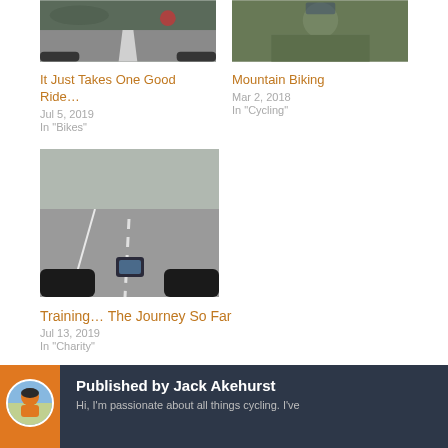[Figure (photo): Road viewed from a cycling perspective, handlebar visible]
It Just Takes One Good Ride…
Jul 5, 2019
In "Bikes"
[Figure (photo): Mountain biking trail through greenery]
Mountain Biking
Mar 2, 2018
In "Cycling"
[Figure (photo): Cycling view from bike handlebar looking down road with GPS device]
Training… The Journey So Far
Jul 13, 2019
In "Charity"
Published by Jack Akehurst
Hi, I'm passionate about all things cycling. I've